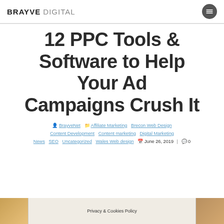BRAYVE DIGITAL
12 PPC Tools & Software to Help Your Ad Campaigns Crush It
BrayveNet   Affiliate Marketing Brecon Web Design Content Development Content marketing Digital Marketing News SEO Uncategorized Wales Web design   June 26, 2019  |  0
[Figure (photo): Partial image strip at the bottom of the page showing a blurred background photo, with a 'Privacy & Cookies Policy' overlay in the center.]